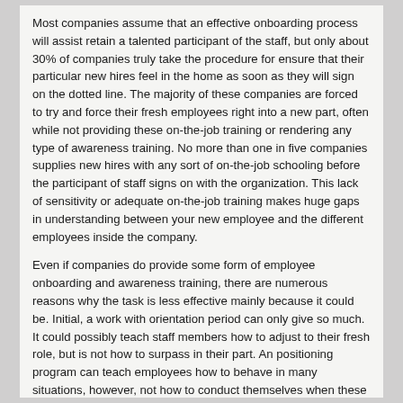Most companies assume that an effective onboarding process will assist retain a talented participant of the staff, but only about 30% of companies truly take the procedure for ensure that their particular new hires feel in the home as soon as they will sign on the dotted line. The majority of these companies are forced to try and force their fresh employees right into a new part, often while not providing these on-the-job training or rendering any type of awareness training. No more than one in five companies supplies new hires with any sort of on-the-job schooling before the participant of staff signs on with the organization. This lack of sensitivity or adequate on-the-job training makes huge gaps in understanding between your new employee and the different employees inside the company.
Even if companies do provide some form of employee onboarding and awareness training, there are numerous reasons why the task is less effective mainly because it could be. Initial, a work with orientation period can only give so much. It could possibly teach staff members how to adjust to their fresh role, but is not how to surpass in their part. An positioning program can teach employees how to behave in many situations, however, not how to conduct themselves when these kinds of situations occur in their daily work lives. A work with orientation course will not show employees how to apply key staff communication tools to promote better worker retention.
One of the effective onboarding processes will give you all new employs with a in depth orientation within the company's goals and objectives, their personal role and responsibilities inside the company, and methods for managing their personal racingrules.rebelsailor.com and professional tasks. The alignment program should also provide excellent hires with detailed info on their personal strengths and weaknesses, and also any extraordinary skills they could have developed over their job. The orientation program for new hires